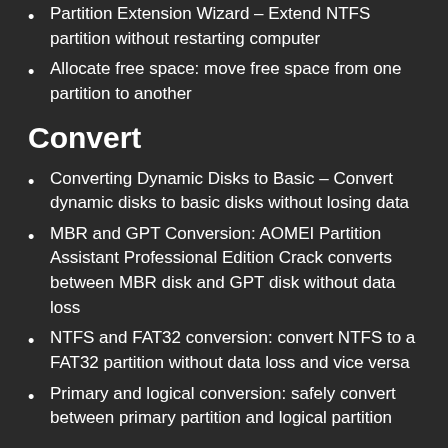Partition Extension Wizard – Extend NTFS partition without restarting computer
Allocate free space: move free space from one partition to another
Convert
Converting Dynamic Disks to Basic – Convert dynamic disks to basic disks without losing data
MBR and GPT Conversion: AOMEI Partition Assistant Professional Edition Crack converts between MBR disk and GPT disk without data loss
NTFS and FAT32 conversion: convert NTFS to a FAT32 partition without data loss and vice versa
Primary and logical conversion: safely convert between primary partition and logical partition
Merge